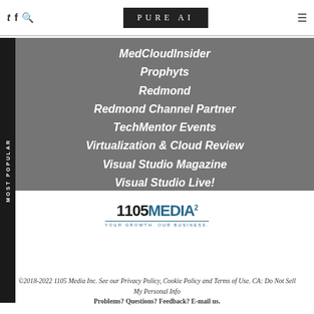PURE AI
MedCloudInsider
Prophyts
Redmond
Redmond Channel Partner
TechMentor Events
Virtualization & Cloud Review
Visual Studio Magazine
Visual Studio Live!
[Figure (logo): 1105 Media logo with tagline YOUR GROWTH. OUR BUSINESS.]
©2018-2022 1105 Media Inc. See our Privacy Policy, Cookie Policy and Terms of Use. CA: Do Not Sell My Personal Info Problems? Questions? Feedback? E-mail us.